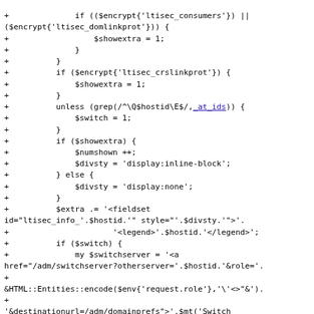[Figure (other): Code diff snippet showing Perl code with + lines indicating additions, including conditional logic with $encrypt, $showextra, $switch, $divsty, $extra fieldset HTML generation, and switchserver link construction.]